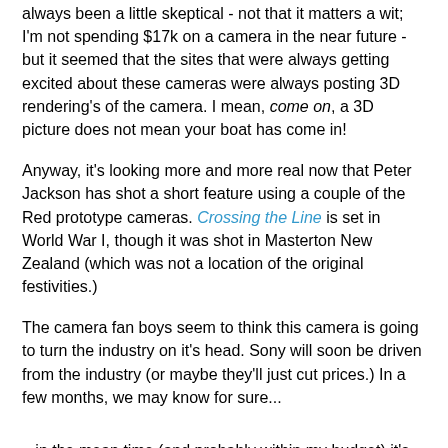always been a little skeptical - not that it matters a wit; I'm not spending $17k on a camera in the near future - but it seemed that the sites that were always getting excited about these cameras were always posting 3D rendering's of the camera. I mean, come on, a 3D picture does not mean your boat has come in!
Anyway, it's looking more and more real now that Peter Jackson has shot a short feature using a couple of the Red prototype cameras. Crossing the Line is set in World War I, though it was shot in Masterton New Zealand (which was not a location of the original festivities.)
The camera fan boys seem to think this camera is going to turn the industry on it's head. Sony will soon be driven from the industry (or maybe they'll just cut prices.) In a few months, we may know for sure...
...in the mean time (and probably within my budget) it's rumored that Sony will be coming out with a tiny HD camcorder that will use Memory Sticks as it's recording